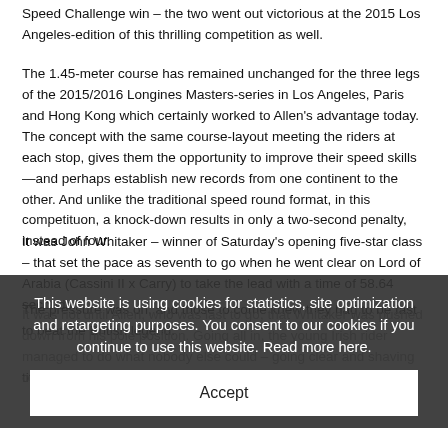Speed Challenge win – the two went out victorious at the 2015 Los Angeles-edition of this thrilling competition as well.
The 1.45-meter course has remained unchanged for the three legs of the 2015/2016 Longines Masters-series in Los Angeles, Paris and Hong Kong which certainly worked to Allen's advantage today. The concept with the same course-layout meeting the riders at each stop, gives them the opportunity to improve their speed skills—and perhaps establish new records from one continent to the other. And unlike the traditional speed round format, in this competituon, a knock-down results in only a two-second penalty, instead of four.
It was John Whitaker – winner of Saturday's opening five-star class – that set the pace as seventh to go when he went clear on Lord of Arabia (Cassini II x Carry) to take the lead with a time of 58.64 seconds.
The pressure was on, and those to come knew they had to be fast to beat the British legend.
It was not until Allen, who was last to go, that Whitaker was pushed down from his pole position. Going all in, the young Irish rider managed to do what nobody else could – going clear and shaving off
title with the 12-year-old gelding owned by Quainton Stud.
This website is using cookies for statistics, site optimization and retargeting purposes. You consent to our cookies if you continue to use this website. Read more here.
Accept